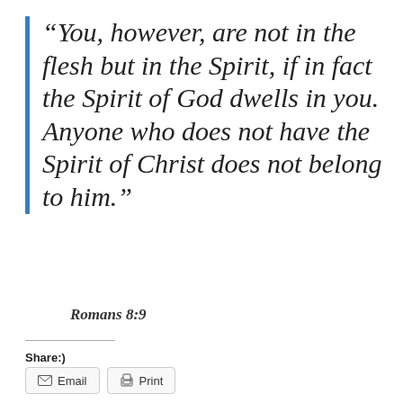“You, however, are not in the flesh but in the Spirit, if in fact the Spirit of God dwells in you. Anyone who does not have the Spirit of Christ does not belong to him.”
Romans 8:9
Share:)
[Figure (other): Email button and Print button with icons]
Loading...